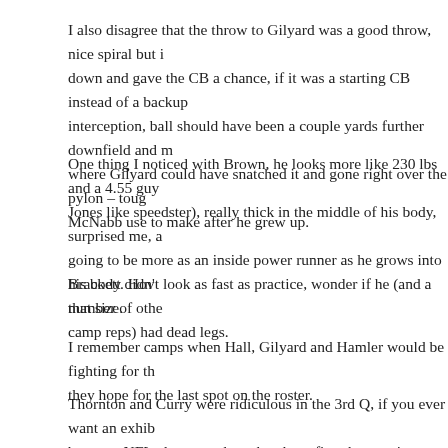I also disagree that the throw to Gilyard was a good throw, nice spiral but it sailed down and gave the CB a chance, if it was a starting CB instead of a backup it's an interception, ball should have been a couple yards further downfield and more outside where Gilyard could have snatched it and gone right over the pylon – tough throws McNabb use to make after he grew up.
One thing I noticed with Brown, he looks more like 230 lbs and a 4.55 guy (not a Jones like speedster), really thick in the middle of his body, surprised me, and he is going to be more as an inside power runner as he grows into his body. How he moves at that size.
Brackett didn't look as fast as practice, wonder if he (and a number of other late camp reps) had dead legs.
I remember camps when Hall, Gilyard and Hamler would be fighting for the spot, now they hope for the last spot on the roster.
Thornton and Curry were ridiculous in the 3rd Q, if you ever want an exhibition between NFL players and scrubs, those first three series say it all, they single handedly the Steeler offense. And they may struggle to dress this year, that, folks is depth.